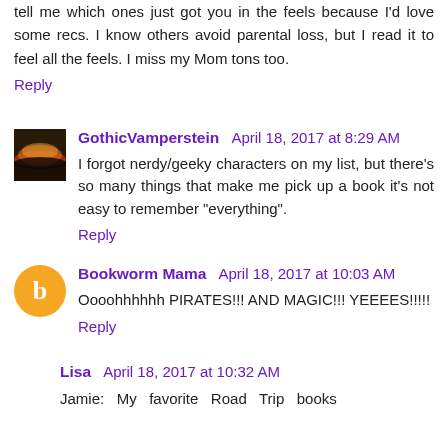tell me which ones just got you in the feels because I'd love some recs. I know others avoid parental loss, but I read it to feel all the feels. I miss my Mom tons too.
Reply
GothicVamperstein  April 18, 2017 at 8:29 AM
I forgot nerdy/geeky characters on my list, but there's so many things that make me pick up a book it's not easy to remember "everything".
Reply
Bookworm Mama  April 18, 2017 at 10:03 AM
Oooohhhhhh PIRATES!!! AND MAGIC!!! YEEEES!!!!!
Reply
Lisa  April 18, 2017 at 10:32 AM
Jamie:  My  favorite  Road  Trip  books